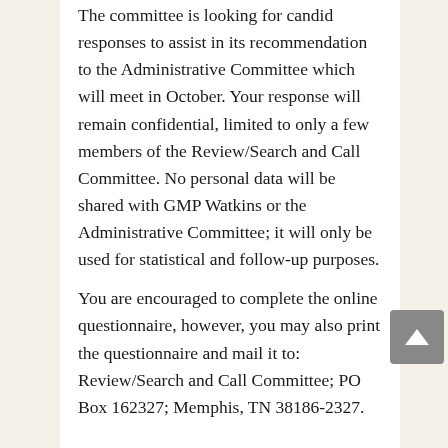The committee is looking for candid responses to assist in its recommendation to the Administrative Committee which will meet in October. Your response will remain confidential, limited to only a few members of the Review/Search and Call Committee. No personal data will be shared with GMP Watkins or the Administrative Committee; it will only be used for statistical and follow-up purposes.
You are encouraged to complete the online questionnaire, however, you may also print the questionnaire and mail it to: Review/Search and Call Committee; PO Box 162327; Memphis, TN 38186-2327.